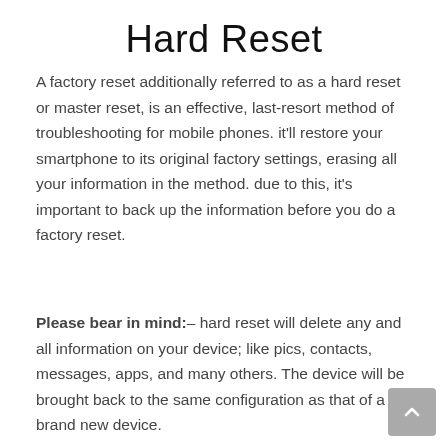Hard Reset
A factory reset additionally referred to as a hard reset or master reset, is an effective, last-resort method of troubleshooting for mobile phones. it'll restore your smartphone to its original factory settings, erasing all your information in the method. due to this, it's important to back up the information before you do a factory reset.
Please bear in mind:– hard reset will delete any and all information on your device; like pics, contacts, messages, apps, and many others. The device will be brought back to the same configuration as that of a brand new device.